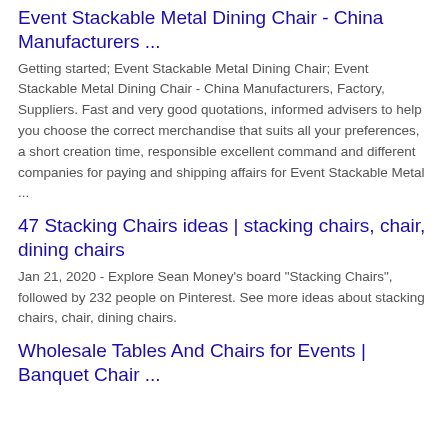Event Stackable Metal Dining Chair - China Manufacturers ...
Getting started; Event Stackable Metal Dining Chair; Event Stackable Metal Dining Chair - China Manufacturers, Factory, Suppliers. Fast and very good quotations, informed advisers to help you choose the correct merchandise that suits all your preferences, a short creation time, responsible excellent command and different companies for paying and shipping affairs for Event Stackable Metal ...
47 Stacking Chairs ideas | stacking chairs, chair, dining chairs
Jan 21, 2020 - Explore Sean Money's board "Stacking Chairs", followed by 232 people on Pinterest. See more ideas about stacking chairs, chair, dining chairs.
Wholesale Tables And Chairs for Events | Banquet Chair ...